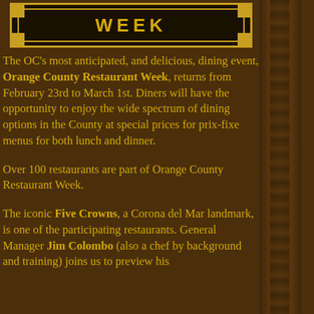[Figure (logo): Orange County Restaurant Week banner/logo — dark background with gold text 'WEEK' in large bold letters, gold double border with corner ornaments]
The OC's most anticipated, and delicious, dining event, Orange County Restaurant Week, returns from February 23rd to March 1st. Diners will have the opportunity to enjoy the wide spectrum of dining options in the County at special prices for prix-fixe menus for both lunch and dinner.
Over 100 restaurants are part of Orange County Restaurant Week.
The iconic Five Crowns, a Corona del Mar landmark, is one of the participating restaurants. General Manager Jim Colombo (also a chef by background and training) joins us to preview his